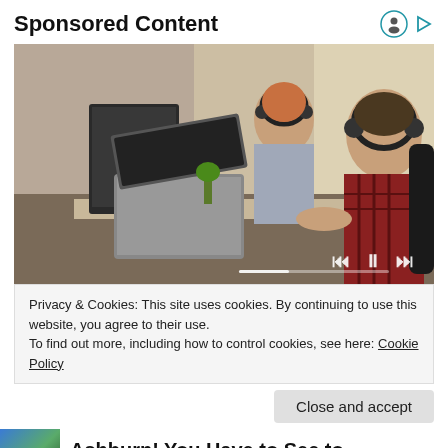Sponsored Content
[Figure (photo): Two office workers wearing headphones and working at computers in a modern open-plan office. A woman in the background uses a desktop, while a man in a red plaid shirt sits in the foreground typing. Media playback controls (skip back, pause, skip forward) are overlaid at the bottom right of the image.]
Privacy & Cookies: This site uses cookies. By continuing to use this website, you agree to their use.
To find out more, including how to control cookies, see here: Cookie Policy
Close and accept
Ashburn! You Have to See to